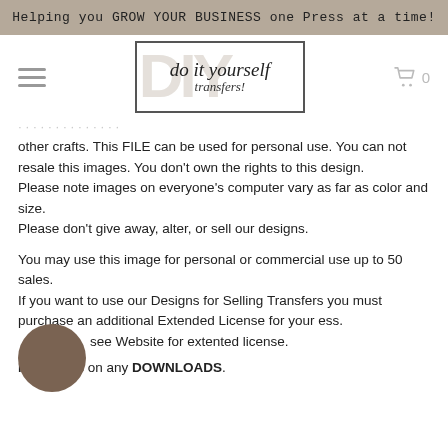Helping you GROW YOUR BUSINESS one Press at a time!
[Figure (logo): Do It Yourself Transfers logo with DIY watermark behind cursive text in a rectangular border, hamburger menu on left, shopping cart with 0 on right]
other crafts. This FILE can be used for personal use. You can not resale this images. You don't own the rights to this design.
Please note images on everyone's computer vary as far as color and size.
Please don't give away, alter, or sell our designs.
You may use this image for personal or commercial use up to 50 sales.
If you want to use our Designs for Selling Transfers you must purchase an additional Extended License for your ess.
 see Website for extented license.
NO returns on any DOWNLOADS.